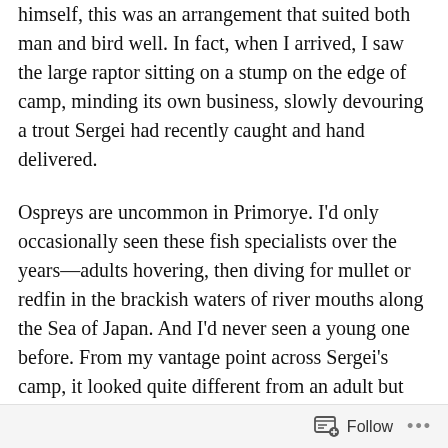himself, this was an arrangement that suited both man and bird well. In fact, when I arrived, I saw the large raptor sitting on a stump on the edge of camp, minding its own business, slowly devouring a trout Sergei had recently caught and hand delivered.
Ospreys are uncommon in Primorye. I'd only occasionally seen these fish specialists over the years—adults hovering, then diving for mullet or redfin in the brackish waters of river mouths along the Sea of Japan. And I'd never seen a young one before. From my vantage point across Sergei's camp, it looked quite different from an adult but had the similar, familiar, black-and-white plumage pattern that adults did.
About a week later I saw the bird again, when Sergei's caravan of naturalists came to the village of Ternei, where
Follow ...